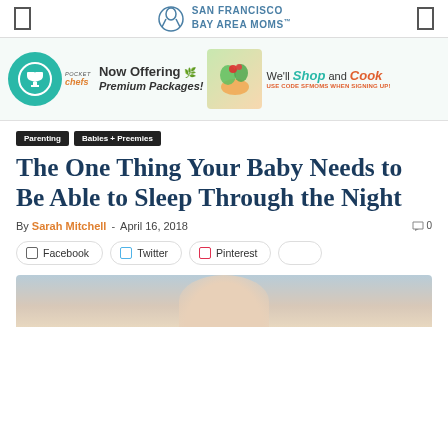SAN FRANCISCO BAY AREA MOMS
[Figure (screenshot): Pocket Chefs advertisement banner: Now Offering Premium Packages! We'll Shop and Cook. Use code SFMOMS when signing up!]
Parenting  Babies + Preemies
The One Thing Your Baby Needs to Be Able to Sleep Through the Night
By Sarah Mitchell - April 16, 2018  0
Facebook  Twitter  Pinterest